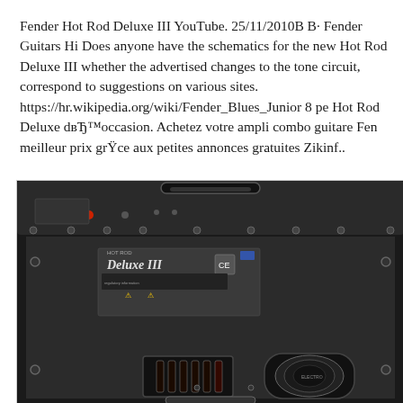Fender Hot Rod Deluxe III YouTube. 25/11/2010B B· Fender Guitars Hi Does anyone have the schematics for the new Hot Rod Deluxe III whether the advertised changes to the tone circuit, correspond to suggestions on various sites. https://hr.wikipedia.org/wiki/Fender_Blues_Junior 8 pe Hot Rod Deluxe d'occasion. Achetez votre ampli combo guitare Fen meilleur prix grâce aux petites annonces gratuites Zikinf..
[Figure (photo): Photograph of the back panel of a Fender Hot Rod Deluxe III guitar amplifier combo, showing the black tolex exterior, a carry handle on top, control panel with knobs, a label reading 'Deluxe III', ventilation slots, and visible vacuum tubes through the openings.]